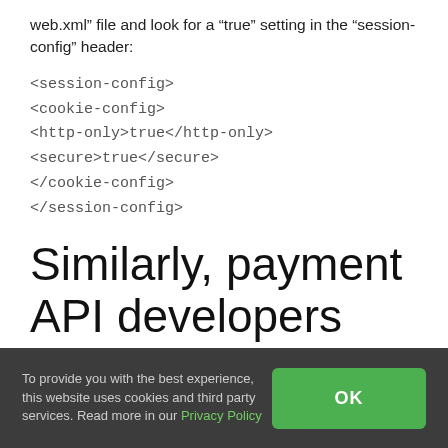web.xml" file and look for a “true” setting in the “session-config” header:
<session-config>
<cookie-config>
<http-only>true</http-only>
<secure>true</secure>
</cookie-config>
</session-config>
Similarly, payment API developers also host java code on Apache
To provide you with the best experience, this website uses cookies and third party services. Read more in our Privacy Policy